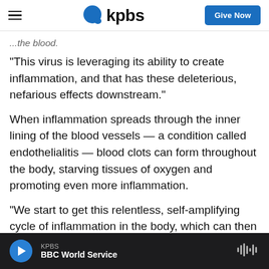KPBS — Give Now
...the blood.
"This virus is leveraging its ability to create inflammation, and that has these deleterious, nefarious effects downstream."
When inflammation spreads through the inner lining of the blood vessels — a condition called endothelialitis — blood clots can form throughout the body, starving tissues of oxygen and promoting even more inflammation.
"We start to get this relentless, self-amplifying cycle of inflammation in the body, which can then lead to
KPBS  BBC World Service